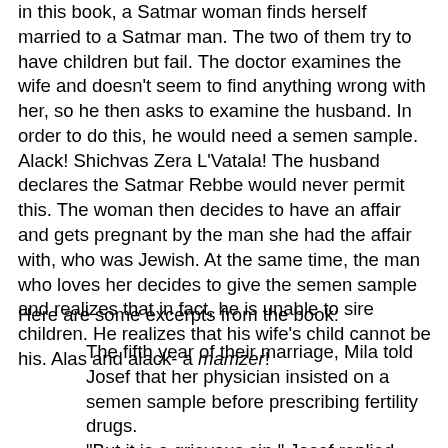in this book, a Satmar woman finds herself married to a Satmar man. The two of them try to have children but fail. The doctor examines the wife and doesn't seem to find anything wrong with her, so he then asks to examine the husband. In order to do this, he would need a semen sample. Alack! Shichvas Zera L'Vatala! The husband declares the Satmar Rebbe would never permit this. The woman then decides to have an affair and gets pregnant by the man she had the affair with, who was Jewish. At the same time, the man who loves her decides to give the semen sample and realizes that in fact, he is unable to sire children. He realizes that his wife's child cannot be his. Alas and alack- a mamzer!
Here are some excerpts from the book:
The fifth year of their marriage, Mila told Josef that her physician insisted on a semen sample before prescribing fertility drugs. "But it is a grievous sin," Josef replied. "The Torah forbids it." "Even for medical purposes? The doctor says some of his orthodox patients did do the test."